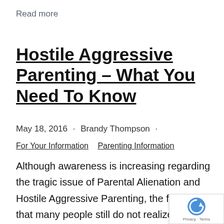Read more
Hostile Aggressive Parenting – What You Need To Know
May 18, 2016 · Brandy Thompson ·
For Your Information   Parenting Information
Although awareness is increasing regarding the tragic issue of Parental Alienation and Hostile Aggressive Parenting, the fact is that many people still do not realize that it even exists. Those that do acknowledge the issues often